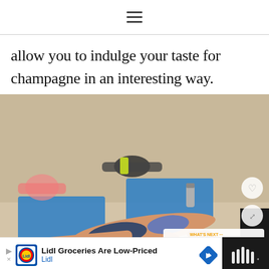≡
allow you to indulge your taste for champagne in an interesting way.
[Figure (photo): Group fitness class with people doing side planks and plank exercises on blue mats on a gym floor. A woman in the foreground does a side plank with a resistance band around her ankles. Overlay elements include a heart button, share button, and a 'What's Next' card showing 'Healthy Slow Cooker...' with a food image.]
[Figure (infographic): Advertisement bar: Lidl logo, text 'Lidl Groceries Are Low-Priced / Lidl', blue diamond arrow icon, and a dark right panel with white sound wave icon.]